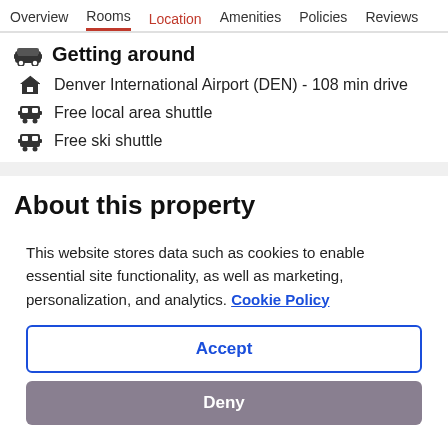Overview  Rooms  Location  Amenities  Policies  Reviews
Getting around
Denver International Airport (DEN) - 108 min drive
Free local area shuttle
Free ski shuttle
About this property
This website stores data such as cookies to enable essential site functionality, as well as marketing, personalization, and analytics. Cookie Policy
Accept
Deny